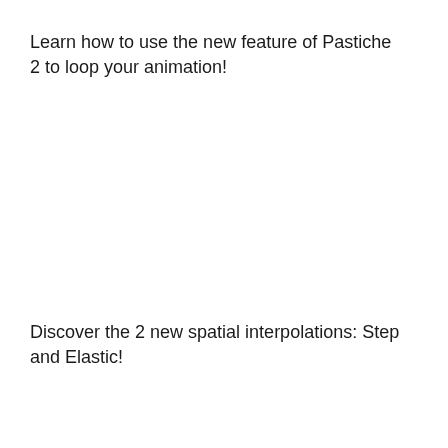Learn how to use the new feature of Pastiche 2 to loop your animation!
Discover the 2 new spatial interpolations: Step and Elastic!